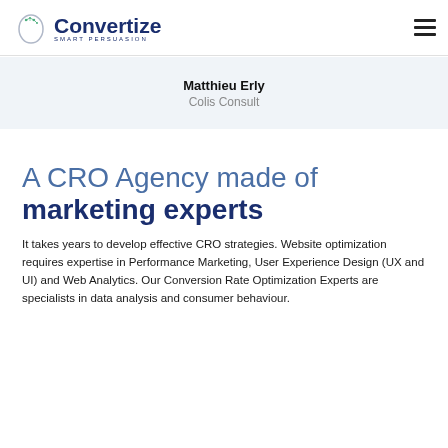Convertize SMART PERSUASION
Matthieu Erly
Colis Consult
A CRO Agency made of marketing experts
It takes years to develop effective CRO strategies. Website optimization requires expertise in Performance Marketing, User Experience Design (UX and UI) and Web Analytics. Our Conversion Rate Optimization Experts are specialists in data analysis and consumer behaviour.